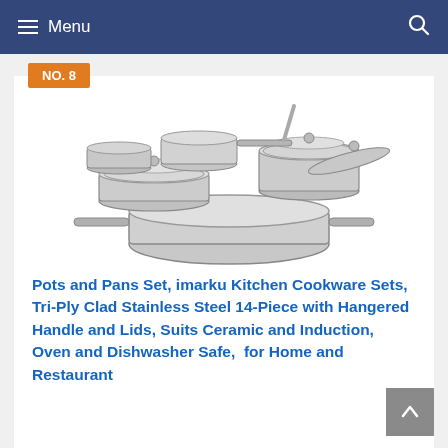Menu
NO. 8
[Figure (photo): Stainless steel cookware set including pots, pans, and lids arranged together]
Pots and Pans Set, imarku Kitchen Cookware Sets, Tri-Ply Clad Stainless Steel 14-Piece with Hangered Handle and Lids, Suits Ceramic and Induction, Oven and Dishwasher Safe,  for Home and Restaurant